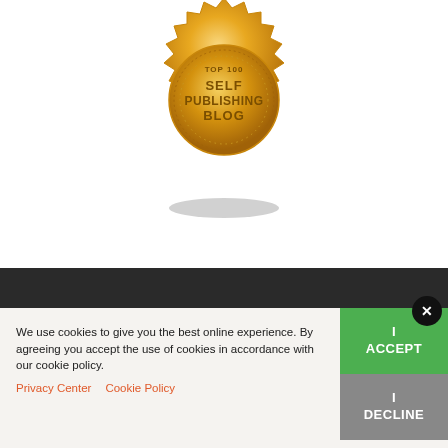[Figure (illustration): Gold badge/seal with text 'SELF PUBLISHING BLOG' visible, partially cropped at top of page, with shadow beneath]
We use cookies to give you the best online experience. By agreeing you accept the use of cookies in accordance with our cookie policy.
Privacy Center    Cookie Policy
I ACCEPT
I DECLINE